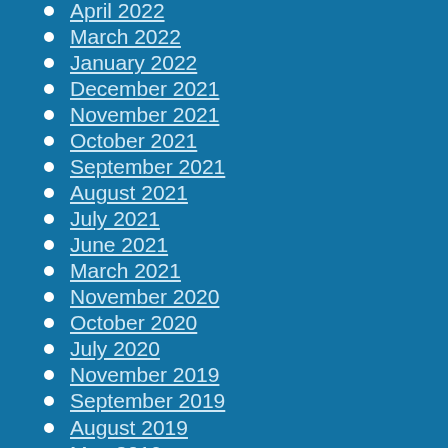April 2022
March 2022
January 2022
December 2021
November 2021
October 2021
September 2021
August 2021
July 2021
June 2021
March 2021
November 2020
October 2020
July 2020
November 2019
September 2019
August 2019
May 2019
April 2019